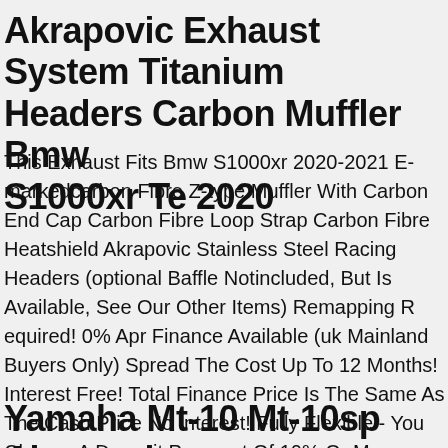Akrapovic Exhaust System Titanium Headers Carbon Muffler Bmw S1000xr Te 2020
This Exhaust Fits Bmw S1000xr 2020-2021 E-markedcarbon Fibre Z-type Muffler With Carbon End Cap Carbon Fibre Loop Strap Carbon Fibre Heatshield Akrapovic Stainless Steel Racing Headers (optional Baffle Notincluded, But Is Available, See Our Other Items) Remapping Required! 0% Apr Finance Available (uk Mainland Buyers Only) Spread The Cost Up To 12 Months! Interest Free! Total Finance Price Is The Same As The Cash Price No Interest! Fully Flexible - You Choose A Deposit Payment Of 10% Or More. - - You Choose The Repayment Term, Either 6, 9 Or 12 Months. - - Early Repayment Available. Please Call 0845 601 0986 To Arrange Finance Before Clicking To Buy On Ebay Do Not Click 'buy It Now' On Ebay Until Finance Is In Place. Subject To Status Terms And .
Yamaha Mt-10 Mt-10sp Akrapovic